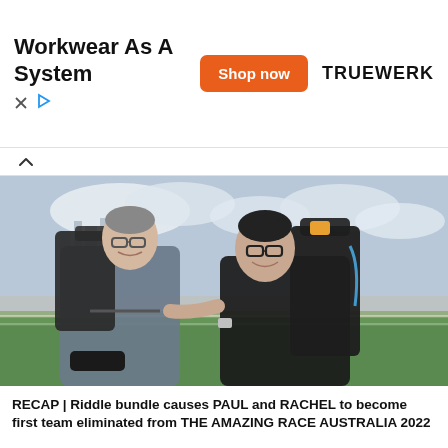[Figure (other): Advertisement banner: 'Workwear As A System' with orange 'Shop now' button and TRUEWERK brand logo]
[Figure (photo): Two people smiling and wearing large black backpacks, standing on green grass at what appears to be a racetrack. A man in a gray t-shirt on the left and a woman in a black t-shirt on the right. City skyline visible in the background.]
RECAP | Riddle bundle causes PAUL and RACHEL to become first team eliminated from THE AMAZING RACE AUSTRALIA 2022